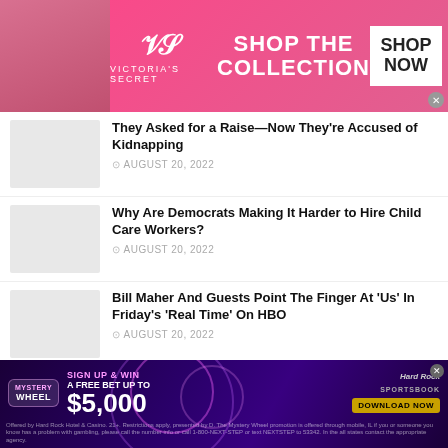[Figure (advertisement): Victoria's Secret advertisement banner with model, VS logo, SHOP THE COLLECTION text, and SHOP NOW button]
They Asked for a Raise—Now They're Accused of Kidnapping
AUGUST 20, 2022
Why Are Democrats Making It Harder to Hire Child Care Workers?
AUGUST 20, 2022
Bill Maher And Guests Point The Finger At 'Us' In Friday's 'Real Time' On HBO
AUGUST 20, 2022
Annie Leibovitz criticized over lighting of Ketanji Brown Jackson photos
[Figure (advertisement): Hard Rock Sportsbook Mystery Wheel ad - Sign up & Win a free bet up to $5,000, Download Now button]